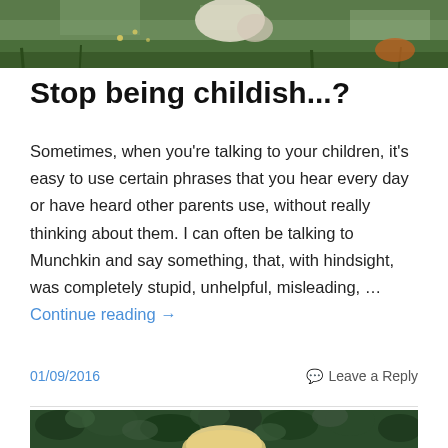[Figure (photo): Top portion of a blog header image showing grass and outdoor scene with a bird/animal partially visible]
Stop being childish...?
Sometimes, when you're talking to your children, it's easy to use certain phrases that you hear every day or have heard other parents use, without really thinking about them. I can often be talking to Munchkin and say something, that, with hindsight, was completely stupid, unhelpful, misleading, … Continue reading →
01/09/2016
Leave a Reply
[Figure (photo): Bottom blog post image showing a young blonde child in front of green leafy hedge]